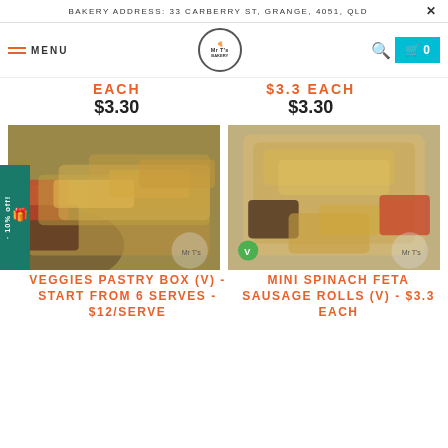BAKERY ADDRESS: 33 CARBERRY ST, GRANGE, 4051, QLD
EACH   $3.3 EACH
$3.30   $3.30
[Figure (photo): Photo of veggies pastry rolls/sausage rolls on a wooden board with dipping sauces]
[Figure (photo): Photo of mini spinach feta sausage rolls in a tray with dipping sauces, vegetarian badge]
VEGGIES PASTRY BOX (V) - START FROM 6 SERVES - $12/SERVE
MINI SPINACH FETA SAUSAGE ROLLS (V) - $3.3 EACH